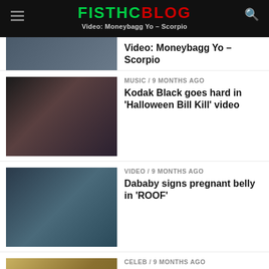FISTHCBLOG — Video: Moneybagg Yo – Scorpio
VIDEO / 9 months ago
Video: Moneybagg Yo – Scorpio
MUSIC / 9 months ago
Kodak Black goes hard in 'Halloween Bill Kill' video
VIDEO / 9 months ago
Dababy signs pregnant belly in 'ROOF'
CELEB / 9 months ago
Rod Wave – 'By Your Side' (Video)
MUSIC VIDEO / 9 months ago
Taylor Swift – All Too Well (Lyric Video)